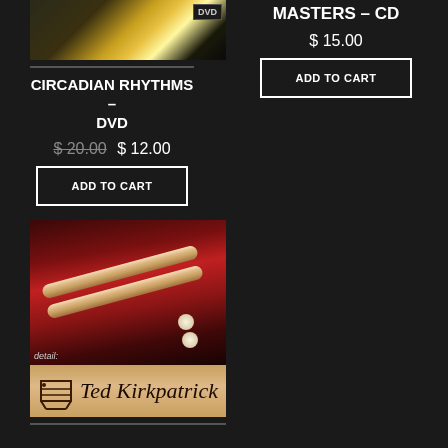[Figure (photo): DVD product image thumbnail showing warm yellow/gold tones with DVD badge]
CIRCADIAN RHYTHMS – DVD
$ 20.00  $ 12.00
ADD TO CART
MASTERS – CD
$ 15.00
ADD TO CART
[Figure (photo): Photo of drumsticks on a red surface, with detail text overlay and Ted Kirkpatrick signature strip below]